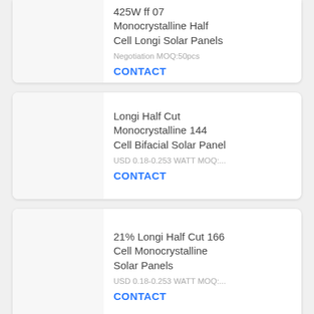425W ff 07 Monocrystalline Half Cell Longi Solar Panels
Negotiation MOQ:50pcs
CONTACT
Longi Half Cut Monocrystalline 144 Cell Bifacial Solar Panel
USD 0.18-0.253 WATT MOQ:...
CONTACT
21% Longi Half Cut 166 Cell Monocrystalline Solar Panels
USD 0.18-0.253 WATT MOQ:...
CONTACT